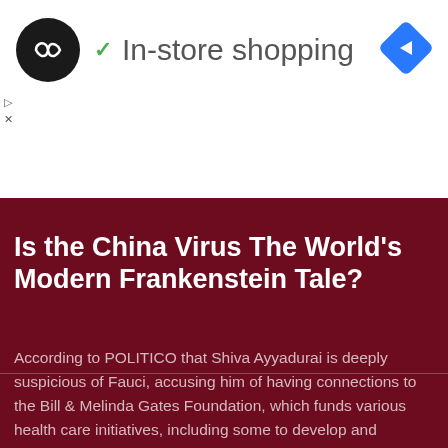[Figure (screenshot): Ad banner showing a black circle logo with infinity symbol, a green checkmark followed by 'In-store shopping' text in gray, and a blue diamond-shaped navigation icon on the right. Small play and X controls on the left below the ad content.]
Is the China Virus The World's Modern Frankenstein Tale?
According to POLITICO that Shiva Ayyadurai is deeply suspicious of Fauci, accusing him of having connections to the Bill & Melinda Gates Foundation, which funds various health care initiatives, including some to develop and distribute vaccines globally.